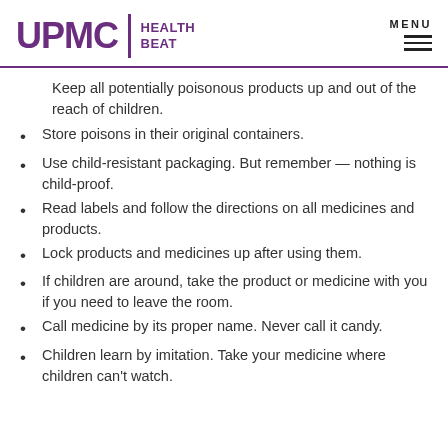UPMC HEALTH BEAT
Keep all potentially poisonous products up and out of the reach of children.
Store poisons in their original containers.
Use child-resistant packaging. But remember — nothing is child-proof.
Read labels and follow the directions on all medicines and products.
Lock products and medicines up after using them.
If children are around, take the product or medicine with you if you need to leave the room.
Call medicine by its proper name. Never call it candy.
Children learn by imitation. Take your medicine where children can't watch.